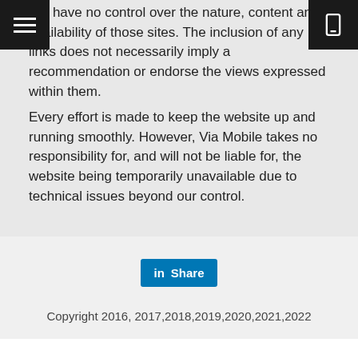We have no control over the nature, content and availability of those sites. The inclusion of any links does not necessarily imply a recommendation or endorse the views expressed within them.
Every effort is made to keep the website up and running smoothly. However, Via Mobile takes no responsibility for, and will not be liable for, the website being temporarily unavailable due to technical issues beyond our control.
[Figure (other): LinkedIn Share button with 'in' logo and 'Share' text on blue background]
Copyright 2016, 2017,2018,2019,2020,2021,2022